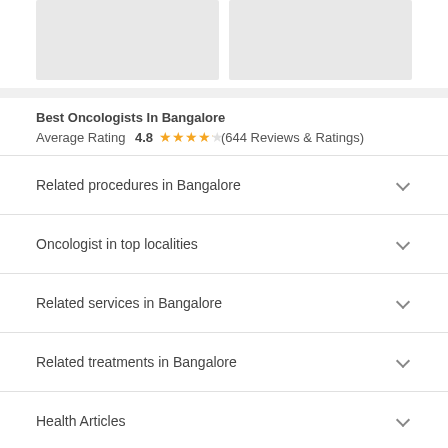[Figure (photo): Two gray placeholder image boxes side by side at top of page]
Best Oncologists In Bangalore
Average Rating 4.8 ★★★★½ (644 Reviews & Ratings)
Related procedures in Bangalore
Oncologist in top localities
Related services in Bangalore
Related treatments in Bangalore
Health Articles